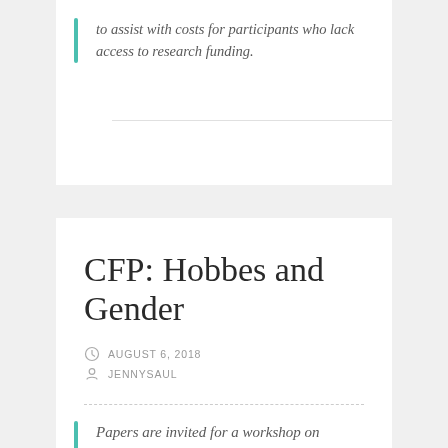to assist with costs for participants who lack access to research funding.
CFP: Hobbes and Gender
AUGUST 6, 2018
JENNYSAUL
Papers are invited for a workshop on Hobbes and Gender, to be held at the Friedrich-